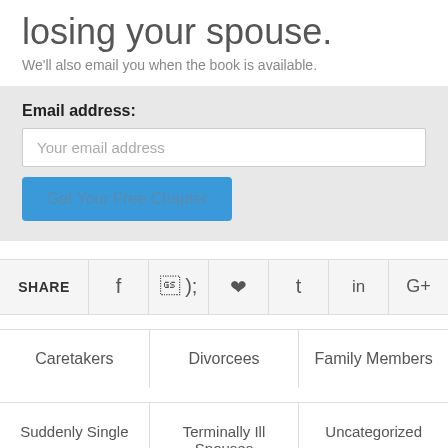losing your spouse.
We'll also email you when the book is available.
Email address:
Your email address
Get Your Free Chapter
SHARE  f  t (twitter)  (pinterest)  t (tumblr)  in  G+
Caretakers   Divorcees   Family Members
Suddenly Single   Terminally Ill Spouses   Uncategorized